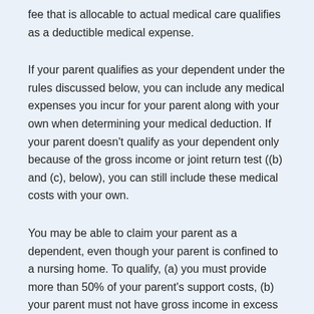fee that is allocable to actual medical care qualifies as a deductible medical expense.
If your parent qualifies as your dependent under the rules discussed below, you can include any medical expenses you incur for your parent along with your own when determining your medical deduction. If your parent doesn't qualify as your dependent only because of the gross income or joint return test ((b) and (c), below), you can still include these medical costs with your own.
You may be able to claim your parent as a dependent, even though your parent is confined to a nursing home. To qualify, (a) you must provide more than 50% of your parent's support costs, (b) your parent must not have gross income in excess of the exemption amount ($4,150 for 2018), (c) your parent must not file a joint return for the year, and (d) your parent must be a U.S. citizen or a resident of the U.S., Canada, or Mexico. Your parent can qualify as your dependent